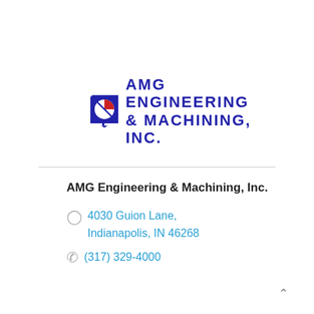[Figure (logo): AMG Engineering & Machining, Inc. logo with blue square/circle icon (red/white/blue design) and bold dark blue text reading 'AMG ENGINEERING & MACHINING, INC.']
AMG Engineering & Machining, Inc.
4030 Guion Lane, Indianapolis, IN 46268
(317) 329-4000